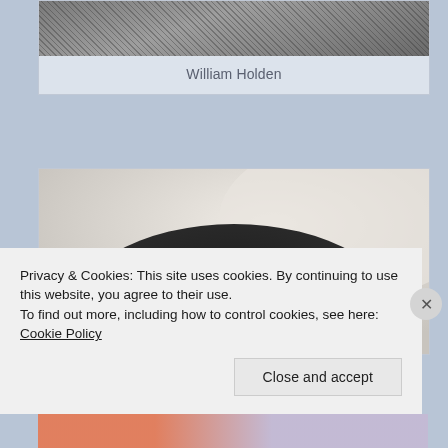[Figure (photo): Black and white close-up photo showing textured fabric or clothing, cropped at top of page]
William Holden
[Figure (photo): Black and white portrait photograph showing the top of a woman's head with dark hair styled in an updo, viewed from above]
Privacy & Cookies: This site uses cookies. By continuing to use this website, you agree to their use.
To find out more, including how to control cookies, see here: Cookie Policy
Close and accept